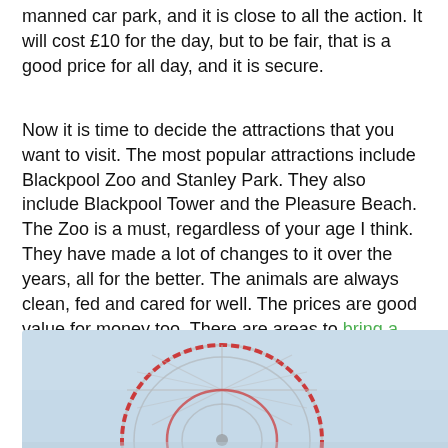manned car park, and it is close to all the action. It will cost £10 for the day, but to be fair, that is a good price for all day, and it is secure.
Now it is time to decide the attractions that you want to visit. The most popular attractions include Blackpool Zoo and Stanley Park. They also include Blackpool Tower and the Pleasure Beach. The Zoo is a must, regardless of your age I think. They have made a lot of changes to it over the years, all for the better. The animals are always clean, fed and cared for well. The prices are good value for money too. There are areas to bring a picnic or you can use the restaurants. They aren't expensive as you might expect at tourist attractions.
[Figure (photo): A roller coaster ride photographed from below against a light blue sky, showing red and grey steel tracks in a circular loop pattern.]